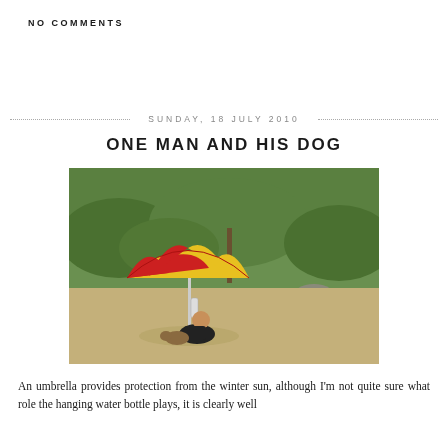NO COMMENTS
SUNDAY, 18 JULY 2010
ONE MAN AND HIS DOG
[Figure (photo): A man sitting on a sandy beach under a red and yellow umbrella with a water bottle hanging from it, with green shrubs and rocks in the background.]
An umbrella provides protection from the winter sun, although I'm not quite sure what role the hanging water bottle plays, it is clearly well